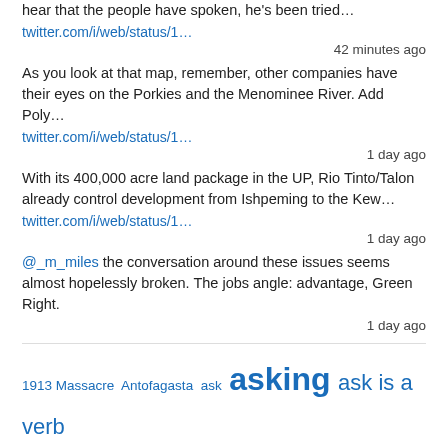hear that the people have spoken, he's been tried...
twitter.com/i/web/status/1...
42 minutes ago
As you look at that map, remember, other companies have their eyes on the Porkies and the Menominee River. Add Poly…
twitter.com/i/web/status/1...
1 day ago
With its 400,000 acre land package in the UP, Rio Tinto/Talon already control development from Ishpeming to the Kew…
twitter.com/i/web/status/1...
1 day ago
@_m_miles the conversation around these issues seems almost hopelessly broken. The jobs angle: advantage, Green Right.
1 day ago
1913 Massacre Antofagasta ask asking ask is a verb authority Boundary Waters Boundary Waters Canoe Area Boundary Waters Canoe Area Wilderness